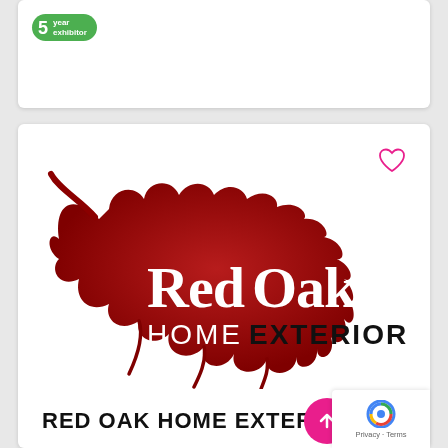[Figure (logo): 5 year exhibitor badge - green circular badge with '5' and 'year exhibitor' text]
[Figure (logo): Red Oak Home Exteriors logo - red oak leaf shape with 'RedOak HOME EXTERIORS' text overlaid]
RED OAK HOME EXTERIORS